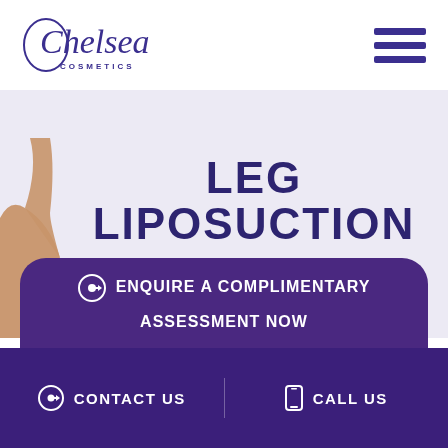[Figure (logo): Chelsea Cosmetics logo — cursive 'Chelsea' with 'COSMETICS' in small caps beneath]
LEG LIPOSUCTION
MELBOURNE, VICTORIA, AUSTRALIA
ENQUIRE A COMPLIMENTARY ASSESSMENT NOW
CONTACT US   CALL US